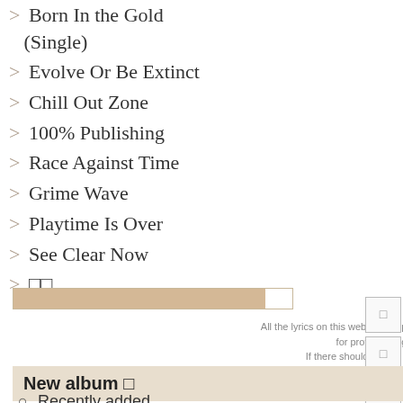> Born In the Gold (Single)
> Evolve Or Be Extinct
> Chill Out Zone
> 100% Publishing
> Race Against Time
> Grime Wave
> Playtime Is Over
> See Clear Now
> □□
All the lyrics on this website are provided by passionate members, and are not for profit making but just reference purpose. If there should be any tort, please contact us immediately, we will remove it instantly and offer the holder of the copyright our since apology.
New album 🔔
○ Recently added